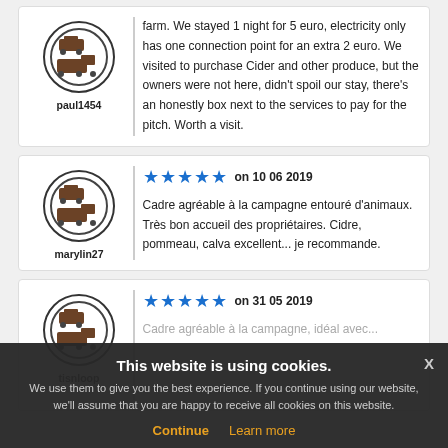paul1454
farm. We stayed 1 night for 5 euro, electricity only has one connection point for an extra 2 euro. We visited to purchase Cider and other produce, but the owners were not here, didn't spoil our stay, there's an honestly box next to the services to pay for the pitch. Worth a visit.
[Figure (illustration): Avatar circle icon with campervans/motorhomes silhouette for user marylin27]
marylin27
5 stars on 10 06 2019
Cadre agréable à la campagne entouré d'animaux. Très bon accueil des propriétaires. Cidre, pommeau, calva excellent... je recommande.
[Figure (illustration): Avatar circle icon with campervans/motorhomes silhouette for user tisnloop]
tisnloop
5 stars on 31 05 2019
Cadre agréable à la campagne, idéal avec... (partially obscured by cookie banner)
This website is using cookies. We use them to give you the best experience. If you continue using our website, we'll assume that you are happy to receive all cookies on this website. Continue | Learn more